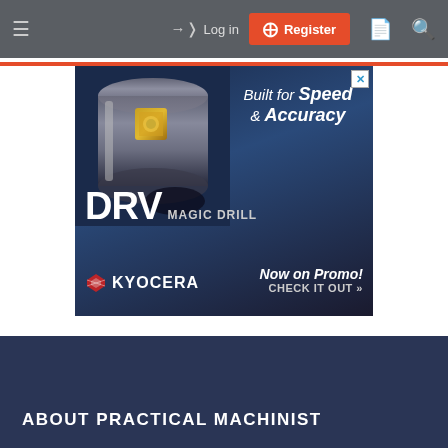≡  Log in  Register
[Figure (photo): Kyocera DRV Magic Drill advertisement. Shows a close-up of a metal drill with an insert on blue-dark background. Text reads: Built for Speed & Accuracy, DRV MAGIC DRILL, Now on Promo! CHECK IT OUT », Kyocera logo.]
ABOUT PRACTICAL MACHINIST